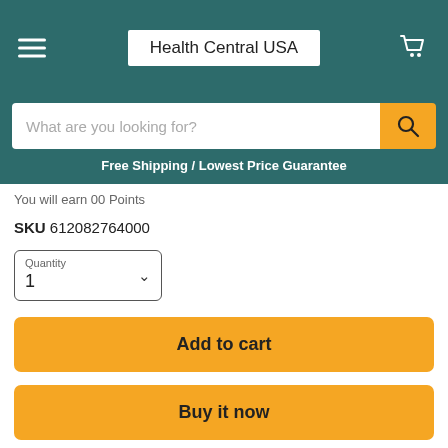Health Central USA
What are you looking for?
Free Shipping / Lowest Price Guarantee
You will earn 00 Points
SKU 612082764000
Quantity
1
Add to cart
Buy it now
Share this: